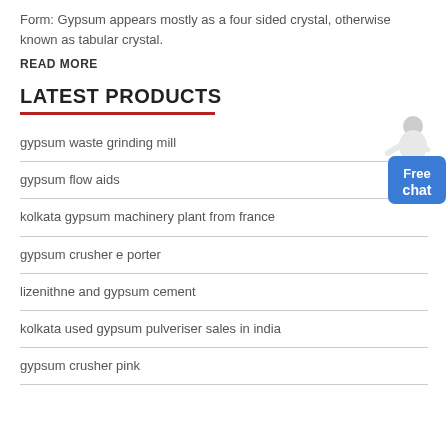Form: Gypsum appears mostly as a four sided crystal, otherwise known as tabular crystal.
READ MORE
LATEST PRODUCTS
gypsum waste grinding mill
gypsum flow aids
kolkata gypsum machinery plant from france
gypsum crusher e porter
lizenithne and gypsum cement
kolkata used gypsum pulveriser sales in india
gypsum crusher pink
[Figure (illustration): Customer service representative figure with Free chat button]